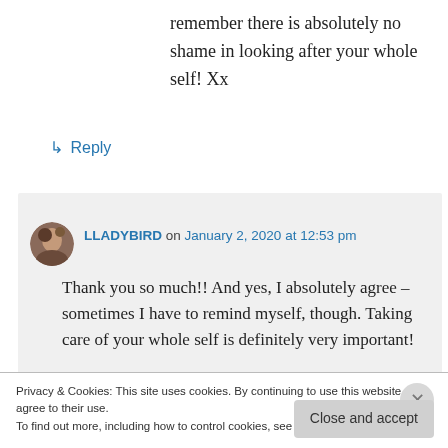remember there is absolutely no shame in looking after your whole self! Xx
↳ Reply
LLADYBIRD on January 2, 2020 at 12:53 pm
Thank you so much!! And yes, I absolutely agree – sometimes I have to remind myself, though. Taking care of your whole self is definitely very important!
Privacy & Cookies: This site uses cookies. By continuing to use this website, you agree to their use.
To find out more, including how to control cookies, see here: Cookie Policy
Close and accept